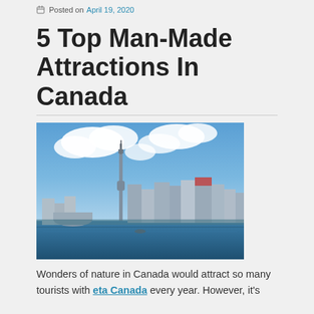Posted on April 19, 2020
5 Top Man-Made Attractions In Canada
[Figure (photo): Toronto city skyline with CN Tower prominently visible, photographed from across the water on a partly cloudy day]
Wonders of nature in Canada would attract so many tourists with eta Canada every year. However, it's not only the Niagara Falls, the Rocky Mountains